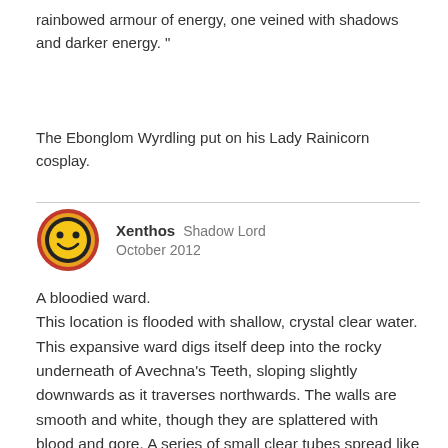rainbowed armour of energy, one veined with shadows and darker energy. "
The Ebonglom Wyrdling put on his Lady Rainicorn cosplay.
[Figure (illustration): Circular avatar with smiley face icon — yellow smiley face on dark background with red/orange ring border]
Xenthos  Shadow Lord
October 2012
A bloodied ward.
This location is flooded with shallow, crystal clear water. This expansive ward digs itself deep into the rocky underneath of Avechna's Teeth, sloping slightly downwards as it traverses northwards. The walls are smooth and white, though they are splattered with blood and gore. A series of small clear tubes spread like a spider's web over the ceiling, peppered with small holes to allow gas exchange. Cowering weakly, a mutilated mugwump is here, raving inanely to herself. There are 5 tormented zombies here. A hungering wraith twists and rages here, appearing as little more than a black shadow drifting